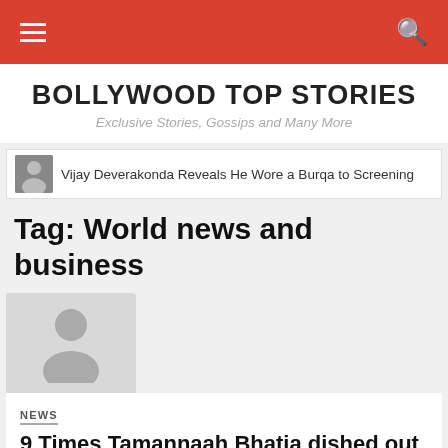BOLLYWOOD TOP STORIES — Exclusive Stories, Gossips and Many More
Vijay Deverakonda Reveals He Wore a Burqa to Screening
Tag: World news and business
[Figure (photo): Placeholder person silhouette image for article]
NEWS
9 Times Tamannaah Bhatia dished out glamorous style inspiration | The Times of India